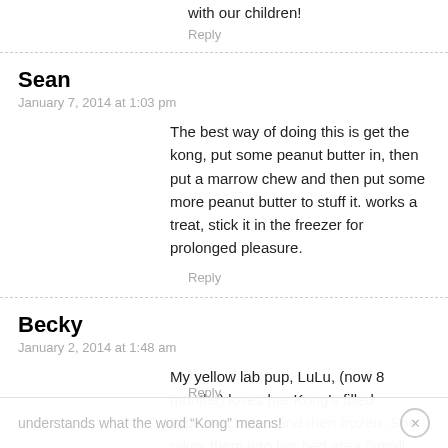with our children!
Reply
Sean
January 7, 2014 at 1:03 pm
The best way of doing this is get the kong, put some peanut butter in, then put a marrow chew and then put some more peanut butter to stuff it. works a treat, stick it in the freezer for prolonged pleasure.
Reply
Becky
January 2, 2014 at 1:48 am
My yellow lab pup, LuLu, (now 8 months) loves her Kong's filled w/peanut butter and then frozen. She takes them into her bed area (small room with a gate that can be closed at night) and savors every last lick! She even
understands what the word “Kong” means!
Reply